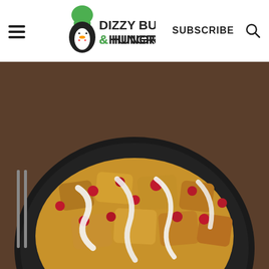Dizzy Busy & Hungry — SUBSCRIBE
[Figure (photo): Food photo of a cranberry bread pudding with white cream drizzle on a dark plate, on a wooden surface. Watermark reads DIZZY BUSY & HUNGRY. Heart icon button, 1K share count, share button overlay on right side.]
[Figure (photo): What's Next thumbnail: Butterscotch French Toas...]
This recipe takes only ten minutes of prep time
[Figure (infographic): Advertisement: It's time to talk about Alzheimer's. LEARN MORE. Alzheimer's Association logo.]